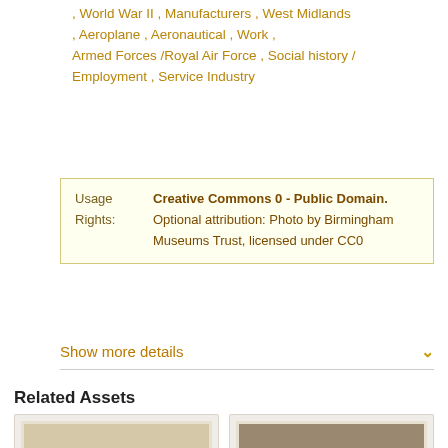, World War II , Manufacturers , West Midlands , Aeroplane , Aeronautical , Work , Armed Forces /Royal Air Force , Social history / Employment , Service Industry
| Field | Value |
| --- | --- |
| Usage Rights: | Creative Commons 0 - Public Domain. Optional attribution: Photo by Birmingham Museums Trust, licensed under CC0 |
Show more details
Related Assets
[Figure (photo): Sepia aerial photograph of a construction site showing excavated ground and buildings]
[Figure (photo): Sepia photograph of workers inside an aircraft manufacturing facility working on an aeroplane structure]